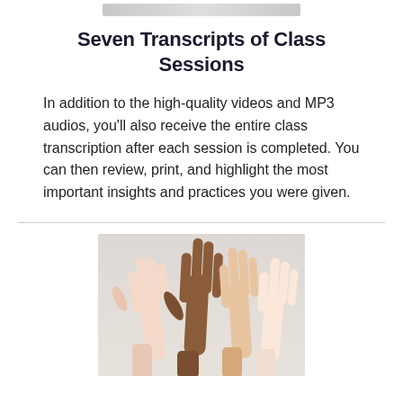[Figure (photo): Partial view of a person or image at the top of the page, cropped banner]
Seven Transcripts of Class Sessions
In addition to the high-quality videos and MP3 audios, you'll also receive the entire class transcription after each session is completed. You can then review, print, and highlight the most important insights and practices you were given.
[Figure (photo): Photo of multiple raised hands of diverse people against a light background]